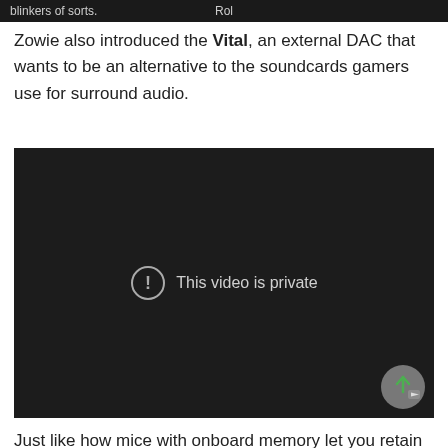blinkers of sorts.
Zowie also introduced the Vital, an external DAC that wants to be an alternative to the soundcards gamers use for surround audio.
[Figure (screenshot): Embedded video player showing a dark background with a circle-exclamation icon and the message 'This video is private'. A scroll/YouTube button is visible in the bottom right corner.]
Just like how mice with onboard memory let you retain your profiles across different PCs, the Vital